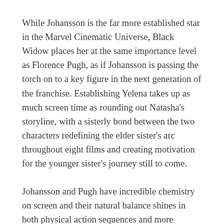While Johansson is the far more established star in the Marvel Cinematic Universe, Black Widow places her at the same importance level as Florence Pugh, as if Johansson is passing the torch on to a key figure in the next generation of the franchise. Establishing Yelena takes up as much screen time as rounding out Natasha's storyline, with a sisterly bond between the two characters redefining the elder sister's arc throughout eight films and creating motivation for the younger sister's journey still to come.
Johansson and Pugh have incredible chemistry on screen and their natural balance shines in both physical action sequences and more subdued, character driven moments. The pair onscreen together are the highlight of Black Widow.